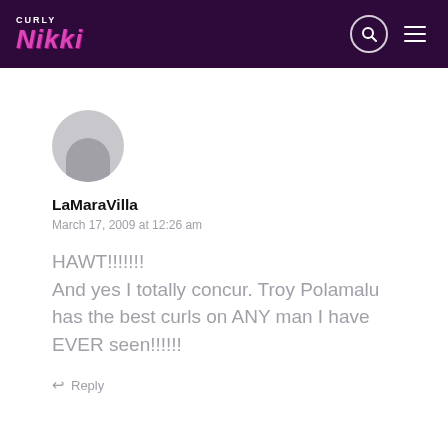Curly Nikki
[Figure (illustration): Generic user avatar circle with gray silhouette]
LaMaraVilla
March 17, 2009 at 12:26 am
HAWT!!!!!!! And yes I totally concur. Troy Polamalu has the best curls on ANY man I have EVER seen!!!!!!
Reply